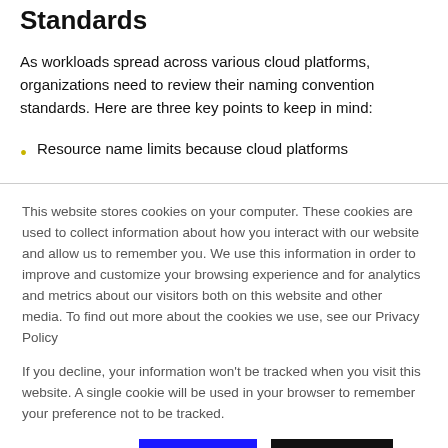Standards
As workloads spread across various cloud platforms, organizations need to review their naming convention standards. Here are three key points to keep in mind:
Resource name limits because cloud platforms
This website stores cookies on your computer. These cookies are used to collect information about how you interact with our website and allow us to remember you. We use this information in order to improve and customize your browsing experience and for analytics and metrics about our visitors both on this website and other media. To find out more about the cookies we use, see our Privacy Policy
If you decline, your information won’t be tracked when you visit this website. A single cookie will be used in your browser to remember your preference not to be tracked.